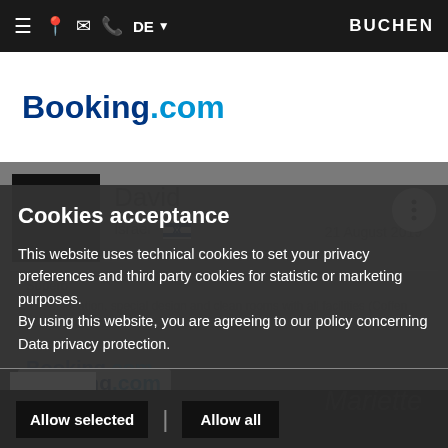≡  📍  ✉  📞  DE ▾  BUCHEN
[Figure (logo): Booking.com logo in blue]
[Figure (screenshot): Review card showing David from Israel, 21 August 2019, Superb rating, background greyed out behind cookie overlay]
Cookies acceptance
This website uses technical cookies to set your privacy preferences and third party cookies for statistic or marketing purposes.
By using this website, you are agreeing to our policy concerning Data privacy protection.
[Figure (logo): Booking.com logo inside cookie overlay]
Necessary cookies ☑  Google ✔
Allow selected
Allow all